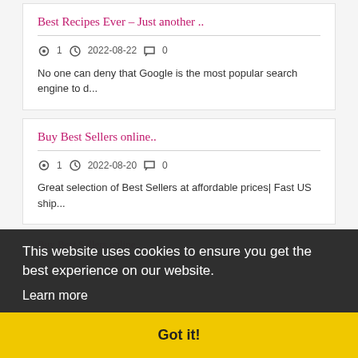Best Recipes Ever – Just another ..
1   2022-08-22   0
No one can deny that Google is the most popular search engine to d...
Buy Best Sellers online..
1   2022-08-20   0
Great selection of Best Sellers at affordable prices| Fast US ship...
This website uses cookies to ensure you get the best experience on our website.
Learn more
Got it!
Tantrik Bangali Baba Ji..